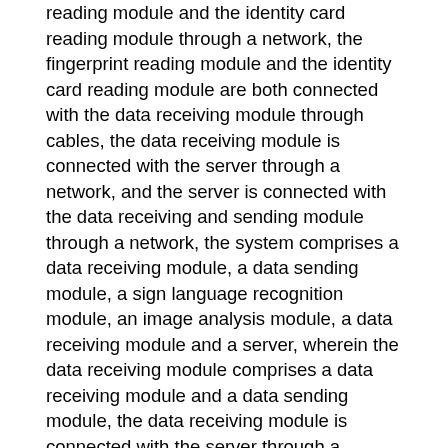reading module and the identity card reading module through a network, the fingerprint reading module and the identity card reading module are both connected with the data receiving module through cables, the data receiving module is connected with the server through a network, and the server is connected with the data receiving and sending module through a network, the system comprises a data receiving module, a data sending module, a sign language recognition module, an image analysis module, a data receiving module and a server, wherein the data receiving module comprises a data receiving module and a data sending module, the data receiving module is connected with the server through a network, the server is respectively connected with the sign language recognition module, the receipt printing module and the payment module through the network, the sign language recognition module comprises a camera module, an image analysis module, a data receiving module and the server, the payment module comprises a cash payment module and a bar code scanning module, the cash payment module comprises a cash detector and a data receiving module, the data receiving module is connected with a touch display module through the network, and the touch display